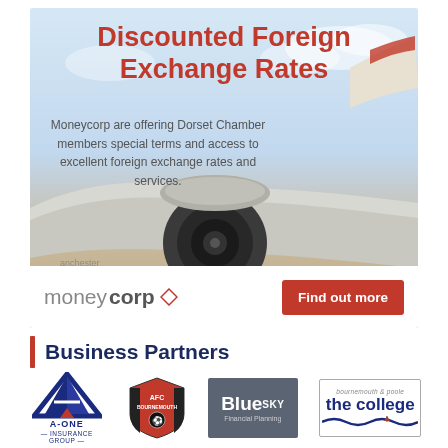[Figure (illustration): Moneycorp advertisement banner showing an airplane wing and engine against a sky background, with red bold title 'Discounted Foreign Exchange Rates', grey descriptive text, moneycorp logo, and red 'Find out more' button]
Business Partners
[Figure (logo): A-ONE Insurance Group logo with blue and red triangular A design]
[Figure (logo): AFC Bournemouth football club crest logo]
[Figure (logo): BlueSKY Financial Planning logo on grey background]
[Figure (logo): Bournemouth & Poole The College logo with wave design]